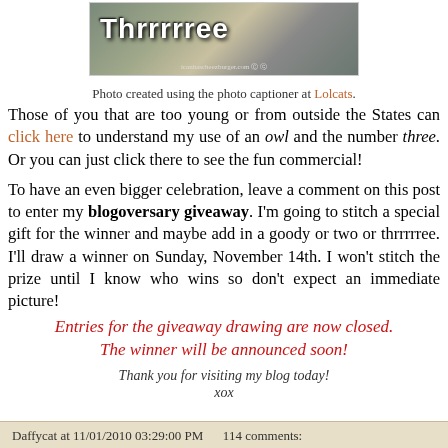[Figure (photo): Image of an owl with the text 'Thrrrrree' overlaid in bold white Impact font, styled as a Lolcats meme]
Photo created using the photo captioner at Lolcats.
Those of you that are too young or from outside the States can click here to understand my use of an owl and the number three. Or you can just click there to see the fun commercial!
To have an even bigger celebration, leave a comment on this post to enter my blogoversary giveaway. I'm going to stitch a special gift for the winner and maybe add in a goody or two or thrrrrree. I'll draw a winner on Sunday, November 14th. I won't stitch the prize until I know who wins so don't expect an immediate picture!
Entries for the giveaway drawing are now closed. The winner will be announced soon!
Thank you for visiting my blog today!
xox
Daffycat at 11/01/2010 03:29:00 PM    114 comments: